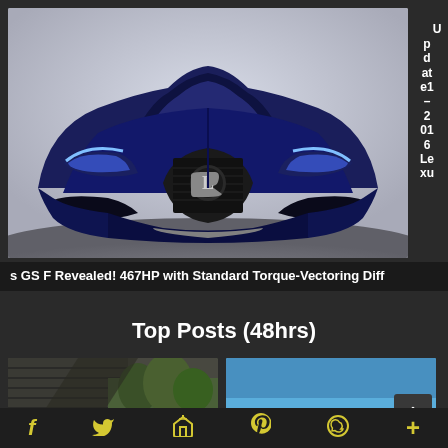[Figure (photo): Front view of a blue 2016 Lexus GS F sports sedan with aggressive grille design and LED headlights]
Update1 – 2016 Lexus GS F Revealed! 467HP with Standard Torque-Vectoring Diff
Top Posts (48hrs)
[Figure (photo): Thumbnail of a barn or wooden structure with trees in background]
[Figure (photo): Thumbnail with blue sky background and dark element, scroll-to-top button overlay]